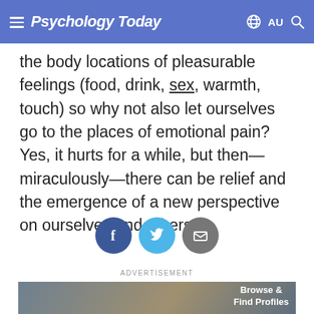Psychology Today — AU
the body locations of pleasurable feelings (food, drink, sex, warmth, touch) so why not also let ourselves go to the places of emotional pain? Yes, it hurts for a while, but then—miraculously—there can be relief and the emergence of a new perspective on ourselves and others.
[Figure (infographic): Three social sharing buttons: Facebook (dark blue circle with 'f'), Twitter (light blue circle with bird icon), Email (grey circle with envelope icon)]
ADVERTISEMENT
[Figure (photo): Advertisement banner showing a man and text 'Browse & Find Profiles']